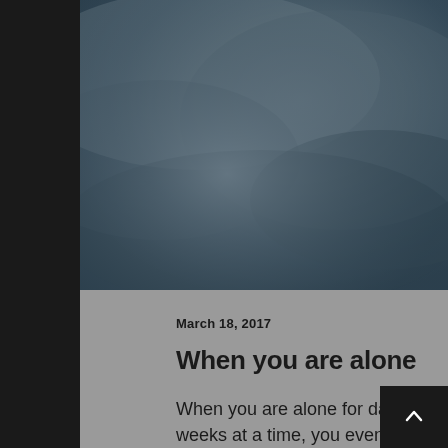[Figure (photo): Dark moody sky with grey and blue tones, appears to be an overcast cloudy sky used as a hero/header image for a blog post]
March 18, 2017
When you are alone
When you are alone for days or weeks at a time, you eventually become drawn to